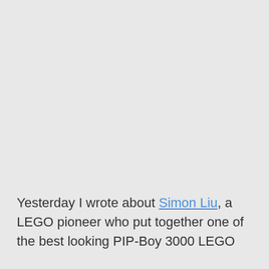Yesterday I wrote about Simon Liu, a LEGO pioneer who put together one of the best looking PIP-Boy 3000 LEGO